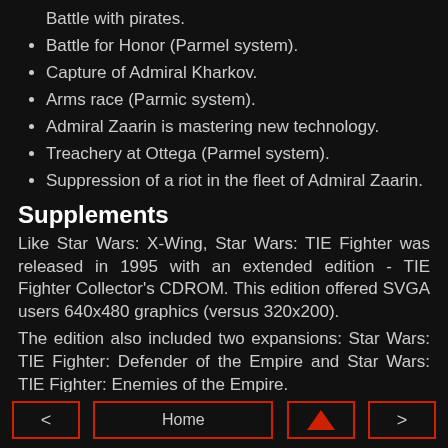Battle with pirates.
Battle for Honor (Parmel system).
Capture of Admiral Kharkov.
Arms race (Parmic system).
Admiral Zaarin is mastering new technology.
Treachery at Ottega (Parmel system).
Suppression of a riot in the fleet of Admiral Zaarin.
Supplements
Like Star Wars: X-Wing, Star Wars: TIE Fighter was released in 1995 with an extended edition - TIE Fighter Collector's CDROM. This edition offered SVGA users 640x480 graphics (versus 320x200).
The edition also included two expansions: Star Wars: TIE Fighter: Defender of the Empire and Star Wars: TIE Fighter: Enemies of the Empire.
< Home ▲ >